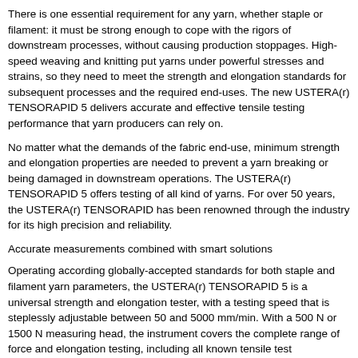There is one essential requirement for any yarn, whether staple or filament: it must be strong enough to cope with the rigors of downstream processes, without causing production stoppages. High-speed weaving and knitting put yarns under powerful stresses and strains, so they need to meet the strength and elongation standards for subsequent processes and the required end-uses. The new USTERA(r) TENSORAPID 5 delivers accurate and effective tensile testing performance that yarn producers can rely on.
No matter what the demands of the fabric end-use, minimum strength and elongation properties are needed to prevent a yarn breaking or being damaged in downstream operations. The USTERA(r) TENSORAPID 5 offers testing of all kind of yarns. For over 50 years, the USTERA(r) TENSORAPID has been renowned through the industry for its high precision and reliability.
Accurate measurements combined with smart solutions
Operating according globally-accepted standards for both staple and filament yarn parameters, the USTERA(r) TENSORAPID 5 is a universal strength and elongation tester, with a testing speed that is steplessly adjustable between 50 and 5000 mm/min. With a 500 N or 1500 N measuring head, the instrument covers the complete range of force and elongation testing, including all known tensile test procedures. Measurements and results comply with all the international standards, including ISO, ASTM, BISFA and Chinese test organizations. Data also integrates directly with the acknowledged global textile quality benchmarks, the USTERA(r) STATISTICS.